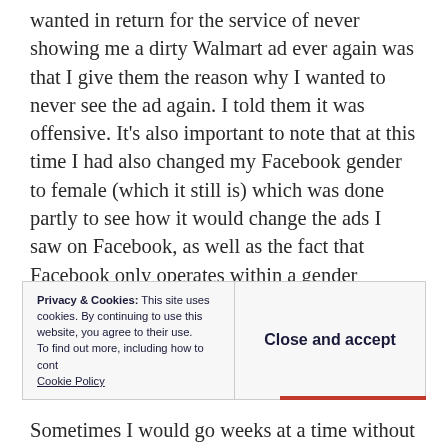wanted in return for the service of never showing me a dirty Walmart ad ever again was that I give them the reason why I wanted to never see the ad again. I told them it was offensive. It’s also important to note that at this time I had also changed my Facebook gender to female (which it still is) which was done partly to see how it would change the ads I saw on Facebook, as well as the fact that Facebook only operates within a gender binary.
For the next four years I proceeded to tell
Privacy & Cookies: This site uses cookies. By continuing to use this website, you agree to their use. To find out more, including how to control cookies, see here: Cookie Policy
Close and accept
Sometimes I would go weeks at a time without